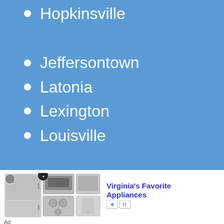Hopkinsville
Jeffersontown
Latonia
Lexington
Louisville
Nicholasville
Owensboro
[Figure (other): Advertisement banner for Virginia's Favorite Appliances showing refrigerator, oven, cooktop, dishwasher, and panel images with ad controls]
Ad